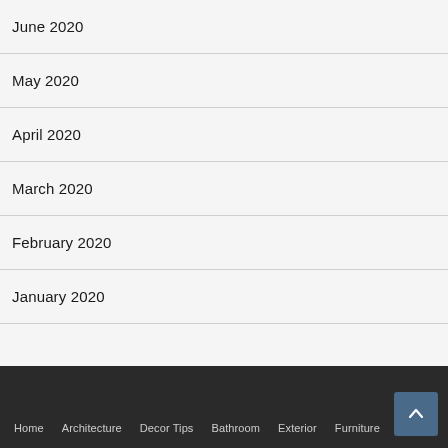June 2020
May 2020
April 2020
March 2020
February 2020
January 2020
Home  Architecture  Decor Tips  Bathroom  Exterior  Furniture